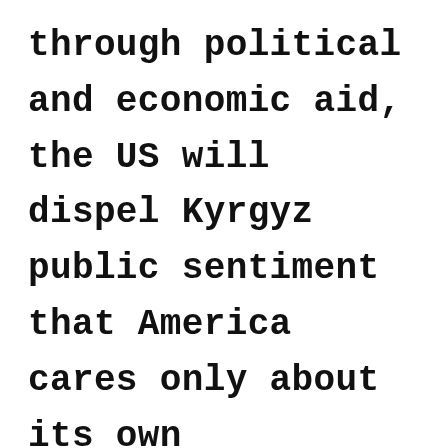through political and economic aid, the US will dispel Kyrgyz public sentiment that America cares only about its own geopolitical interests. America stands to